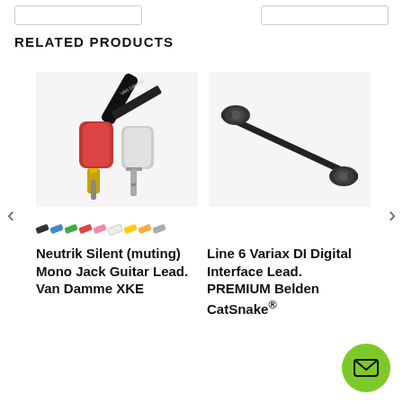RELATED PRODUCTS
[Figure (photo): Neutrik Silent (muting) Mono Jack Guitar Lead with Van Damme XKE cable, showing two jack connectors (one red, one silver) and color swatches]
Neutrik Silent (muting) Mono Jack Guitar Lead. Van Damme XKE
[Figure (photo): Line 6 Variax DI Digital Interface Lead, showing two XLR-style connectors on a black cable — PREMIUM Belden CatSnake]
Line 6 Variax DI Digital Interface Lead. PREMIUM Belden CatSnake®